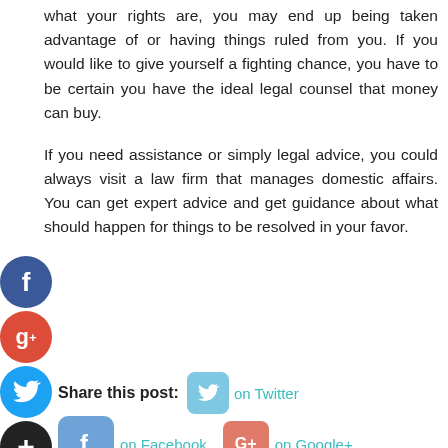what your rights are, you may end up being taken advantage of or having things ruled from you. If you would like to give yourself a fighting chance, you have to be certain you have the ideal legal counsel that money can buy.
If you need assistance or simply legal advice, you could always visit a law firm that manages domestic affairs. You can get expert advice and get guidance about what should happen for things to be resolved in your favor.
Share this post:  on Twitter  on Facebook  on Google+